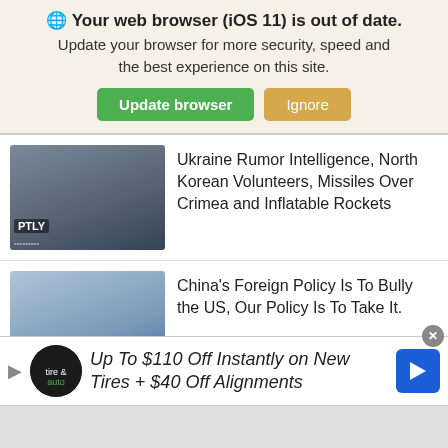🌐 Your web browser (iOS 11) is out of date. Update your browser for more security, speed and the best experience on this site.
Update browser | Ignore
Ukraine Rumor Intelligence, North Korean Volunteers, Missiles Over Crimea and Inflatable Rockets
China's Foreign Policy Is To Bully the US, Our Policy Is To Take It.
Read this Translation of an Interview with General Kryvonos of Ukraine's Special Forces
Up To $110 Off Instantly on New Tires + $40 Off Alignments